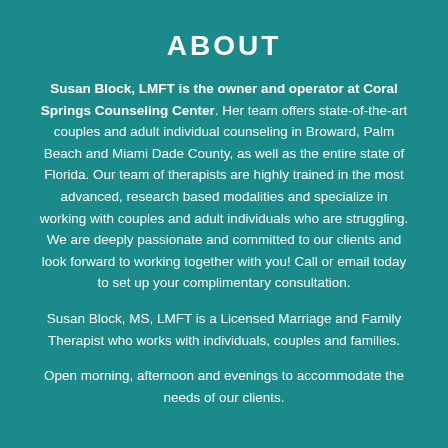ABOUT
Susan Block, LMFT is the owner and operator at Coral Springs Counseling Center. Her team offers state-of-the-art couples and adult individual counseling in Broward, Palm Beach and Miami Dade County, as well as the entire state of Florida. Our team of therapists are highly trained in the most advanced, research based modalities and specialize in working with couples and adult individuals who are struggling. We are deeply passionate and committed to our clients and look forward to working together with you! Call or email today to set up your complimentary consultation.
Susan Block, MS, LMFT is a Licensed Marriage and Family Therapist who works with individuals, couples and families.
Open morning, afternoon and evenings to accommodate the needs of our clients.